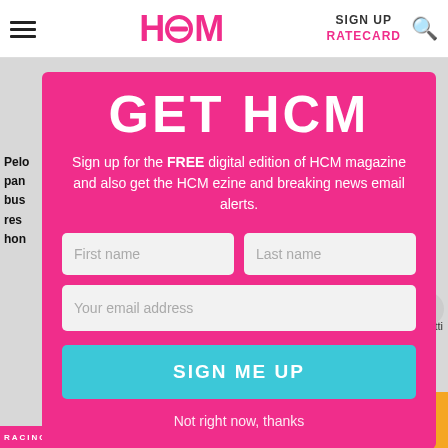HCM | SIGN UP | RATECARD
[Figure (screenshot): HCM magazine website modal signup overlay on a pink background with header navigation showing HCM logo, SIGN UP, RATECARD, and search icon. Modal contains: GET HCM title, subscription description text, First name and Last name input fields, Your email address input field, SIGN ME UP button in teal, and Not right now, thanks dismiss link.]